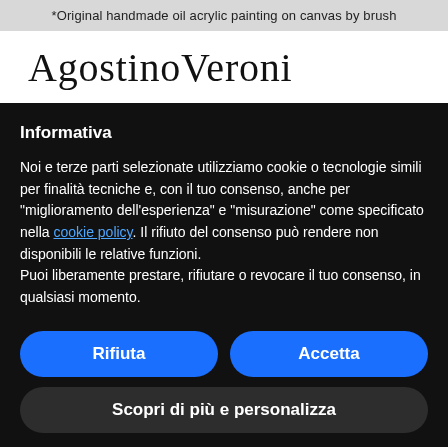*Original handmade oil acrylic painting on canvas by brush
[Figure (logo): AgostinoVeroni handwritten signature logo in cursive script]
Informativa
Noi e terze parti selezionate utilizziamo cookie o tecnologie simili per finalità tecniche e, con il tuo consenso, anche per "miglioramento dell'esperienza" e "misurazione" come specificato nella cookie policy. Il rifiuto del consenso può rendere non disponibili le relative funzioni.
Puoi liberamente prestare, rifiutare o revocare il tuo consenso, in qualsiasi momento.
Rifiuta
Accetta
Scopri di più e personalizza